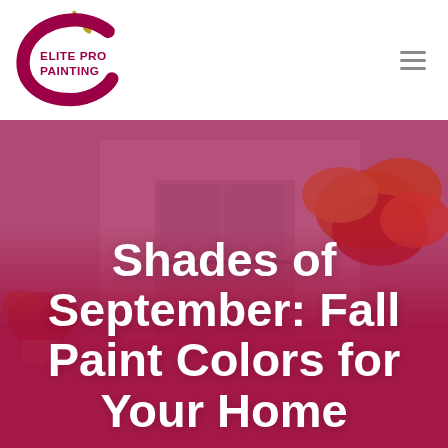[Figure (logo): Elite Pro Painting logo: dark red/crimson C-shape with paintbrush above, text ELITE PRO PAINTING in dark red capitals]
[Figure (photo): Hero image: autumn fall leaves in orange/red tones overlaid on a mauve/pink painted room interior, with a strong crimson-pink color overlay. Large white bold text reads 'Shades of September: Fall Paint Colors for Your Home']
Shades of September: Fall Paint Colors for Your Home